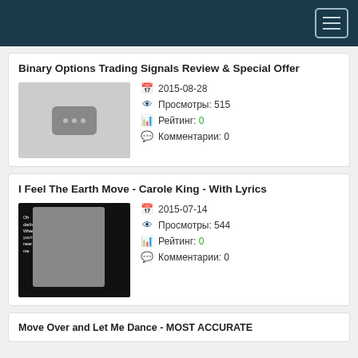Navigation menu
Binary Options Trading Signals Review & Special Offer
2015-08-28 | Просмотры: 515 | Рейтинг: 0 | Комментарии: 0
I Feel The Earth Move - Carole King - With Lyrics
2015-07-14 | Просмотры: 544 | Рейтинг: 0 | Комментарии: 0
Move Over and Let Me Dance - MOST ACCURATE